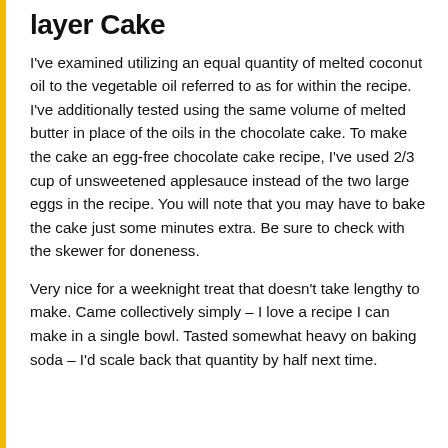layer Cake
I've examined utilizing an equal quantity of melted coconut oil to the vegetable oil referred to as for within the recipe. I've additionally tested using the same volume of melted butter in place of the oils in the chocolate cake. To make the cake an egg-free chocolate cake recipe, I've used 2/3 cup of unsweetened applesauce instead of the two large eggs in the recipe. You will note that you may have to bake the cake just some minutes extra. Be sure to check with the skewer for doneness.
Very nice for a weeknight treat that doesn't take lengthy to make. Came collectively simply – I love a recipe I can make in a single bowl. Tasted somewhat heavy on baking soda – I'd scale back that quantity by half next time.